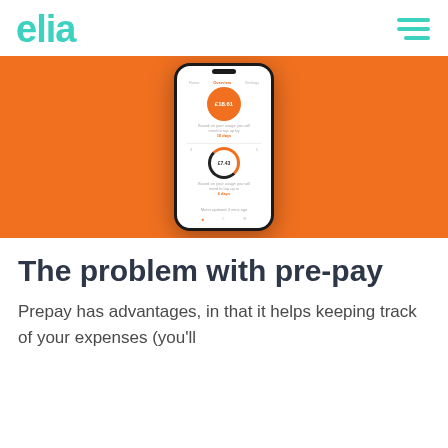eliq
[Figure (screenshot): A smartphone displaying the Eliq energy tracking app on an orange background. The phone screen shows circular gauges with energy usage data and text labels.]
The problem with pre-pay
Prepay has advantages, in that it helps keeping track of your expenses (you'll